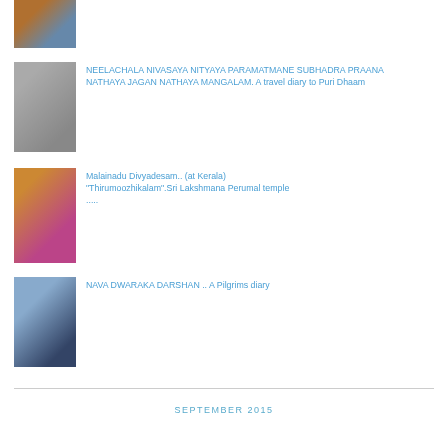[Figure (photo): Thumbnail image of a religious figure or ceremony]
[Figure (photo): Thumbnail image of a large crowd, possibly a pilgrimage]
NEELACHALA NIVASAYA NITYAYA PARAMATMANE SUBHADRA PRAANA NATHAYA JAGAN NATHAYA MANGALAM. A travel diary to Puri Dhaam
[Figure (photo): Thumbnail image of a deity with flower garlands]
Malainadu Divyadesam.. (at Kerala) "Thirumoozhikalam".Sri Lakshmana Perumal temple .....
[Figure (photo): Thumbnail image of a temple silhouette against sky]
NAVA DWARAKA DARSHAN .. A Pilgrims diary
SEPTEMBER 2015